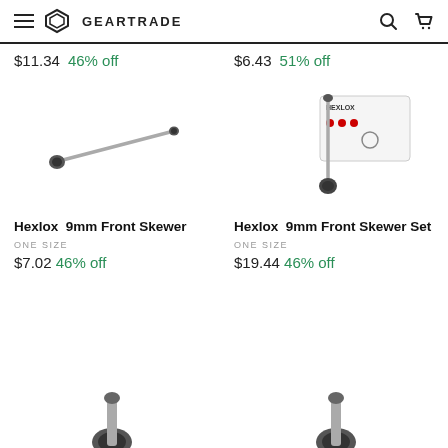Geartrade
$11.34  46% off
$6.43  51% off
[Figure (photo): Hexlox 9mm Front Skewer — a thin metal skewer with black end caps on both ends]
[Figure (photo): Hexlox 9mm Front Skewer Set — a skewer with black tip and a product card/packaging showing Hexlox branding]
Hexlox  9mm Front Skewer
ONE SIZE
$7.02  46% off
Hexlox  9mm Front Skewer Set
ONE SIZE
$19.44  46% off
[Figure (photo): Partial view of another Hexlox product at bottom left]
[Figure (photo): Partial view of another Hexlox product at bottom right]